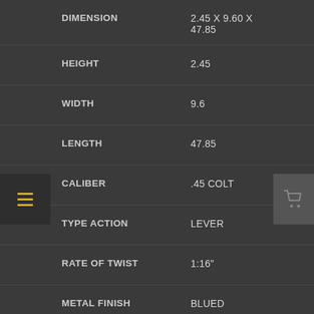| Attribute | Value |
| --- | --- |
| DIMENSION | 2.45 X 9.60 X 47.85 |
| HEIGHT | 2.45 |
| WIDTH | 9.6 |
| LENGTH | 47.85 |
| CALIBER | .45 COLT |
| TYPE ACTION | LEVER |
| RATE OF TWIST | 1:16" |
| METAL FINISH | BLUED |
| STOCK MATERIAL | WALNUT |
| BARREL LENGTH IN INCHES | 16 |
| OVERALL LENGTH IN INCHES | 40.6 |